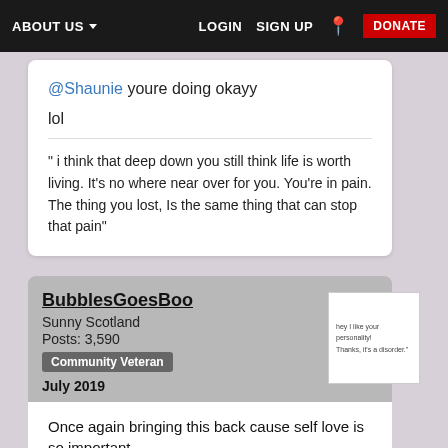ABOUT US  LOGIN  SIGN UP  DONATE
@Shaunie youre doing okayy

lol
" i think that deep down you still think life is worth living. It's no where near over for you. You're in pain. The thing you lost, Is the same thing that can stop that pain"
BubblesGoesBoo
Sunny Scotland
Posts: 3,590
Community Veteran
July 2019
[Figure (photo): Small thumbnail showing a note/paper with text: 'hey I like your personality!' 'Thanks, it's a disorder.']
Once again bringing this back cause self love is so important ❤

I like my style, and how I'm not scared to look different...